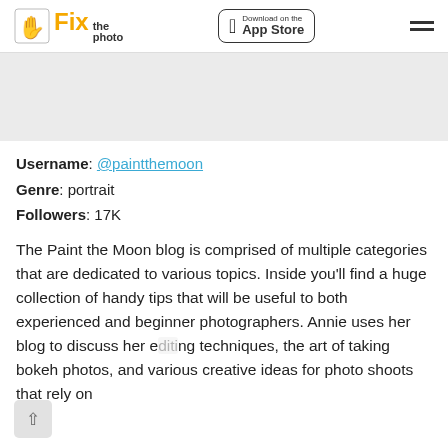Fix the photo | Download on the App Store
[Figure (other): Gray banner/advertisement area placeholder]
Username: @paintthemoon
Genre: portrait
Followers: 17K
The Paint the Moon blog is comprised of multiple categories that are dedicated to various topics. Inside you'll find a huge collection of handy tips that will be useful to both experienced and beginner photographers. Annie uses her blog to discuss her editing techniques, the art of taking bokeh photos, and various creative ideas for photo shoots that rely on